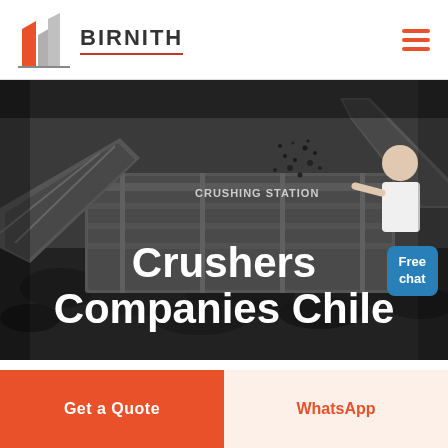[Figure (logo): Birnith company logo with orange building icon and text BIRNITH]
[Figure (photo): Industrial crushing station machinery with coal/rocks being processed, dark moody industrial scene]
Crushers Companies Chile
Free chat
Get a Quote
WhatsApp